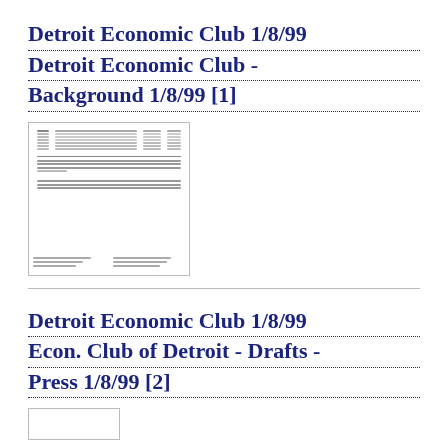Detroit Economic Club 1/8/99
Detroit Economic Club - Background 1/8/99 [1]
[Figure (other): Thumbnail image of a document page showing a table with rows of text and numbers, a horizontal divider line, and blocks of text at the bottom.]
Detroit Economic Club 1/8/99
Econ. Club of Detroit - Drafts - Press 1/8/99 [2]